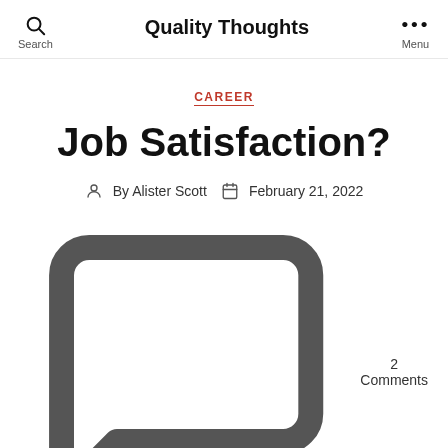Quality Thoughts
CAREER
Job Satisfaction?
By Alister Scott   February 21, 2022   2 Comments
I recently received a letter from a long-term reader asking about meaning/purpose from work:
“I’m having a real struggle with lack of